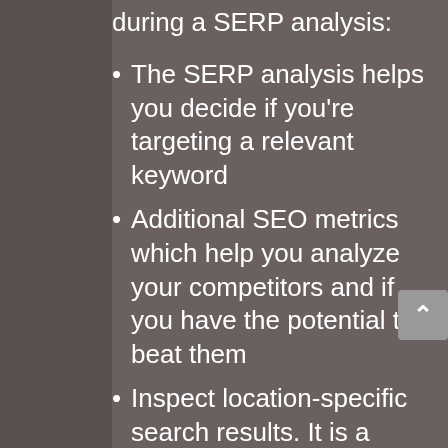during a SERP analysis:
The SERP analysis helps you decide if you're targeting a relevant keyword
Additional SEO metrics which help you analyze your competitors and if you have the potential to beat them
Inspect location-specific search results. It is a good idea to use keyword research tools which offer SERP analysis
Google SERP features such as...